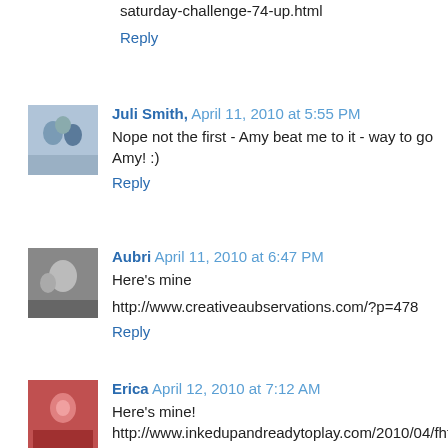saturday-challenge-74-up.html
Reply
Juli Smith, April 11, 2010 at 5:55 PM
Nope not the first - Amy beat me to it - way to go Amy! :)
Reply
Aubri April 11, 2010 at 6:47 PM
Here's mine
http://www.creativeaubservations.com/?p=478
Reply
Erica April 12, 2010 at 7:12 AM
Here's mine! http://www.inkedupandreadytoplay.com/2010/04/fhf-sketch-